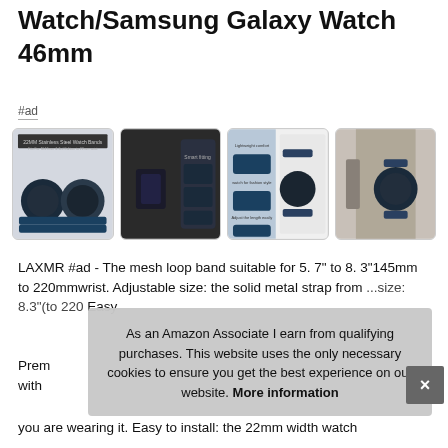Watch/Samsung Galaxy Watch 46mm
#ad
[Figure (photo): Four product images showing stainless steel watch bands for Samsung Galaxy Watch 46mm, including close-up of strap details and wrist-wearing shots.]
LAXMR #ad - The mesh loop band suitable for 5. 7" to 8. 3"145mm to 220mmwrist. Adjustable size: the solid metal strap from...Easy to...
Premium...with...you are wearing it. Easy to install: the 22mm width watch
As an Amazon Associate I earn from qualifying purchases. This website uses the only necessary cookies to ensure you get the best experience on our website. More information